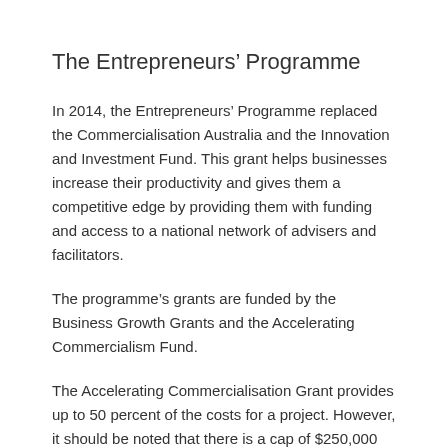The Entrepreneurs' Programme
In 2014, the Entrepreneurs' Programme replaced the Commercialisation Australia and the Innovation and Investment Fund. This grant helps businesses increase their productivity and gives them a competitive edge by providing them with funding and access to a national network of advisers and facilitators.
The programme's grants are funded by the Business Growth Grants and the Accelerating Commercialism Fund.
The Accelerating Commercialisation Grant provides up to 50 percent of the costs for a project. However, it should be noted that there is a cap of $250,000 for commercialisation offices and other eligible partner